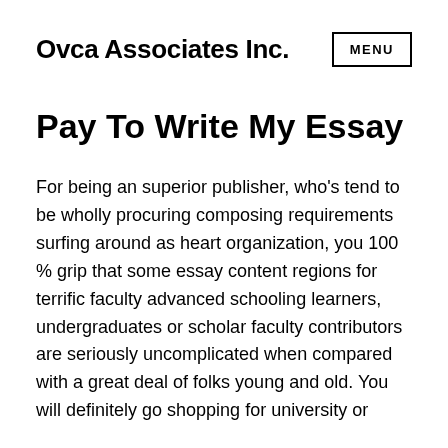Ovca Associates Inc.
Pay To Write My Essay
For being an superior publisher, who’s tend to be wholly procuring composing requirements surfing around as heart organization, you 100 % grip that some essay content regions for terrific faculty advanced schooling learners, undergraduates or scholar faculty contributors are seriously uncomplicated when compared with a great deal of folks young and old. You will definitely go shopping for university or